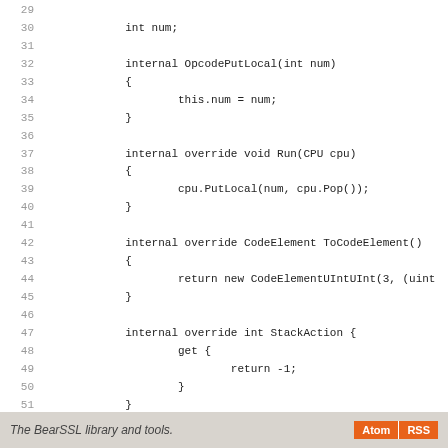[Figure (screenshot): Source code listing showing lines 29-57 of a C# class with OpcodePutLocal implementation including fields, constructor, Run, ToCodeElement, StackAction and ToString methods]
The BearSSL library and tools.